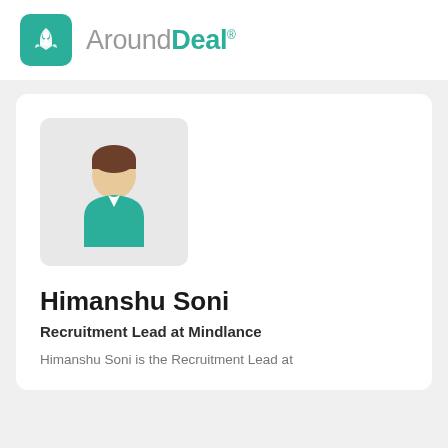[Figure (logo): AroundDeal logo with teal rocket icon and text 'AroundDeal' with registered trademark symbol]
[Figure (illustration): Generic person avatar illustration with teal shirt and brown hair on light grey rounded square background]
Himanshu Soni
Recruitment Lead at Mindlance
Himanshu Soni is the Recruitment Lead at